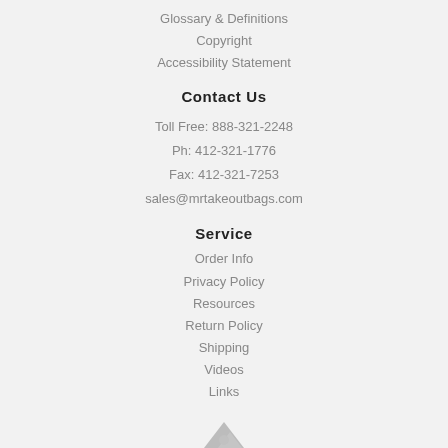Glossary & Definitions
Copyright
Accessibility Statement
Contact Us
Toll Free: 888-321-2248
Ph: 412-321-1776
Fax: 412-321-7253
sales@mrtakeoutbags.com
Service
Order Info
Privacy Policy
Resources
Return Policy
Shipping
Videos
Links
[Figure (logo): Partial logo/icon at bottom center of page, dark silhouette]